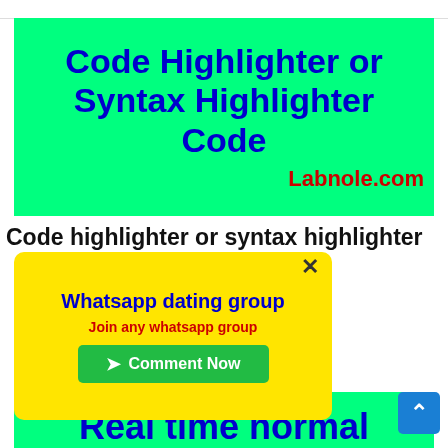[Figure (illustration): Green banner image with bold blue text reading 'Code Highlighter or Syntax Highlighter Code' and red text 'Labnole.com' at bottom right]
Code highlighter or syntax highlighter
[Figure (infographic): Yellow popup overlay with blue bold title 'Whatsapp dating group', red subtitle 'Join any whatsapp group', and green 'Comment Now' button with arrow icon. Close X button in top right.]
[Figure (illustration): Second green banner partially visible at bottom with blue bold text 'Real time normal']